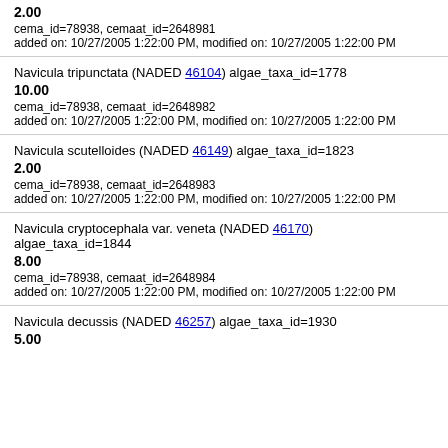[partial] 2.00
cema_id=78938, cemaat_id=2648981
added on: 10/27/2005 1:22:00 PM, modified on: 10/27/2005 1:22:00 PM
Navicula tripunctata (NADED 46104) algae_taxa_id=1778
10.00
cema_id=78938, cemaat_id=2648982
added on: 10/27/2005 1:22:00 PM, modified on: 10/27/2005 1:22:00 PM
Navicula scutelloides (NADED 46149) algae_taxa_id=1823
2.00
cema_id=78938, cemaat_id=2648983
added on: 10/27/2005 1:22:00 PM, modified on: 10/27/2005 1:22:00 PM
Navicula cryptocephala var. veneta (NADED 46170) algae_taxa_id=1844
8.00
cema_id=78938, cemaat_id=2648984
added on: 10/27/2005 1:22:00 PM, modified on: 10/27/2005 1:22:00 PM
Navicula decussis (NADED 46257) algae_taxa_id=1930
5.00